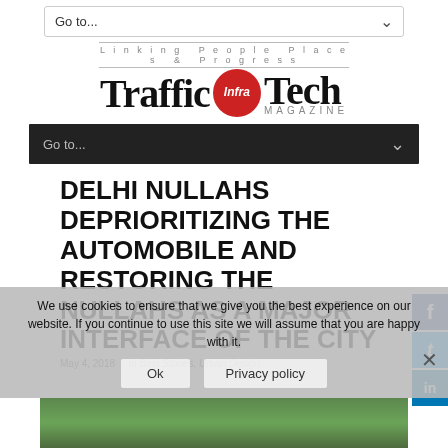Go to...
[Figure (logo): Traffic Infra Tech Magazine logo with tagline 'Linking People Places & Progress']
Go to...
DELHI NULLAHS DEPRIORITIZING THE AUTOMOBILE AND RESTORING THE NULLAHS AS A MAJOR INTERFACE OF THE CITY
May 4, 2018    in Best Stories, Urban Design
We use cookies to ensure that we give you the best experience on our website. If you continue to use this site we will assume that you are happy with it.
Ok   Privacy policy